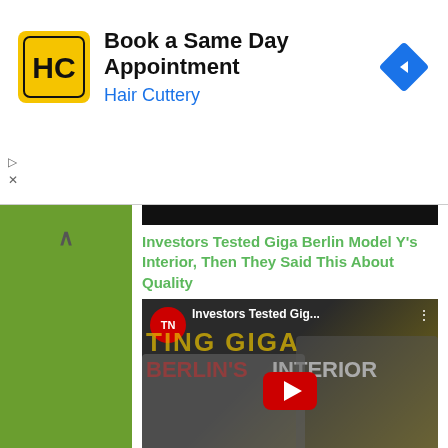[Figure (screenshot): Hair Cuttery advertisement banner with logo, title 'Book a Same Day Appointment', subtitle 'Hair Cuttery', and a blue navigation diamond icon. Ad controls (play/close) on left side.]
Investors Tested Giga Berlin Model Y's Interior, Then They Said This About Quality
[Figure (screenshot): YouTube video thumbnail showing Giga Berlin's interior with Elon Musk, title text 'Investors Tested Gig...' and 'BERLIN'S INTERIOR' with red YouTube play button overlay.]
More Recent Videos
Related to This Story